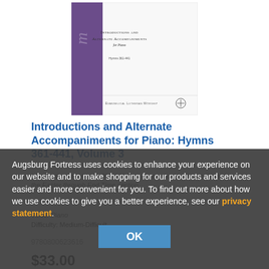[Figure (illustration): Book cover for 'Introductions and Alternate Accompaniments for Piano, Hymns 361-441' — Evangelical Lutheran Worship, with purple spine and white cover]
Introductions and Alternate Accompaniments for Piano: Hymns 361-441, Volume 3
Introductions to Hymns 361-441 from Evangelical Lutheran Worship, the Easter through End Time section.
Voice: Piano
Difficulty: Medium-Difficult
9780800623616
$33.00
Augsburg Fortress uses cookies to enhance your experience on our website and to make shopping for our products and services easier and more convenient for you. To find out more about how we use cookies to give you a better experience, see our privacy statement.